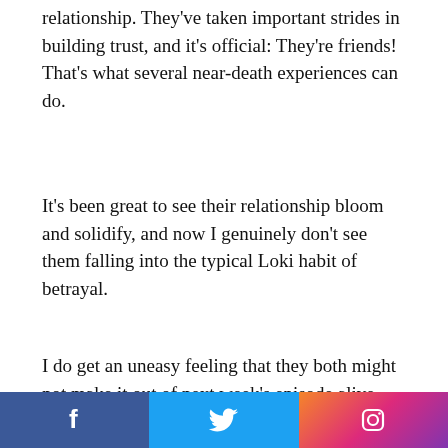relationship. They've taken important strides in building trust, and it's official: They're friends! That's what several near-death experiences can do.
It's been great to see their relationship bloom and solidify, and now I genuinely don't see them falling into the typical Loki habit of betrayal.
I do get an uneasy feeling that they both might not make it out of next week's episode alive. Just the way they were suggesting some kind of life together moving forward. Can Marvel let Loki be happy? We'll find out.
[Figure (infographic): Advertisement for '37 Genius Amazon Products That Can Be Used By Anyone' with 22 Words logo (teal circle), a CLOSE button, and a partial product image at bottom.]
[Figure (infographic): Social media share bar with Facebook (blue), Twitter (light blue), and Instagram (gradient orange-pink-purple) icons.]